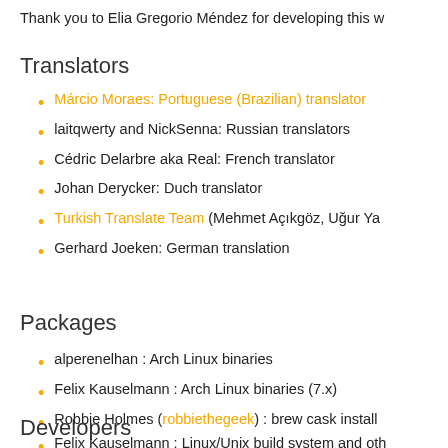Thank you to Elia Gregorio Méndez for developing this w
Translators
Márcio Moraes: Portuguese (Brazilian) translator
laitqwerty and NickSenna: Russian translators
Cédric Delarbre aka Real: French translator
Johan Derycker: Duch translator
Turkish Translate Team (Mehmet Açıkgöz, Uğur Ya
Gerhard Joeken: German translation
Packages
alperenelhan : Arch Linux binaries
Felix Kauselmann : Arch Linux binaries (7.x)
Robbie Holmes (robbiethegeek) : brew cask install
Developers
Felix Kauselmann : Linux/Unix build system and oth